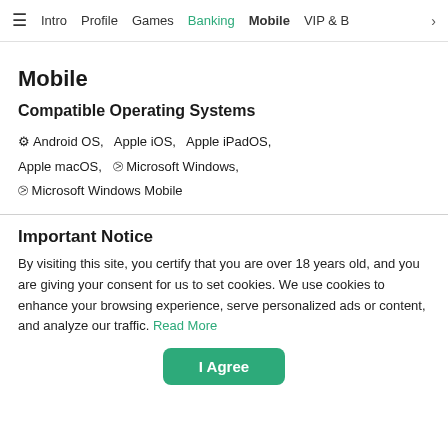≡  Intro  Profile  Games  Banking  Mobile  VIP & B  >
Mobile
Compatible Operating Systems
Android OS,  Apple iOS,  Apple iPadOS,
Apple macOS,  Microsoft Windows,
Microsoft Windows Mobile
Important Notice
By visiting this site, you certify that you are over 18 years old, and you are giving your consent for us to set cookies. We use cookies to enhance your browsing experience, serve personalized ads or content, and analyze our traffic. Read More
I Agree